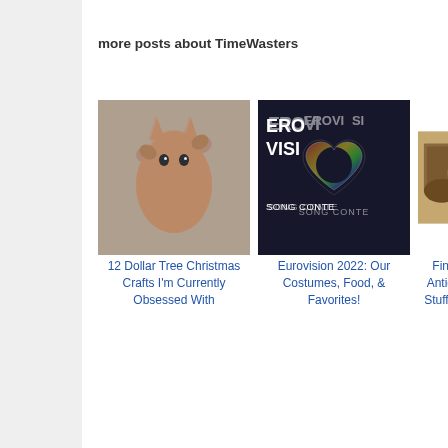more posts about TimeWasters
[Figure (photo): Thumbnail of kitten jumping - for '12 Dollar Tree Christmas Crafts I'm Currently Obsessed With' post]
12 Dollar Tree Christmas Crafts I'm Currently Obsessed With
[Figure (photo): Eurovision Song Contest logo thumbnail]
Eurovision 2022: Our Costumes, Food, & Favorites!
[Figure (photo): Antique market finds thumbnail]
Finds From Antique Ma... Stuff, & All T...
POSTED BY JEN AT 7:35 PM
LABELS: DISNEY, FUN, FUNNY, MUSIC, TIMEWASTERS
33 COMMENTS:
Miri Ruthford August 1, 2020 at 8:04 PM
I'm a vet tech, and my coworkers and I LOVE the cat
[Figure (advertisement): SHE Partner Network ad - We help content creators grow businesses through...]